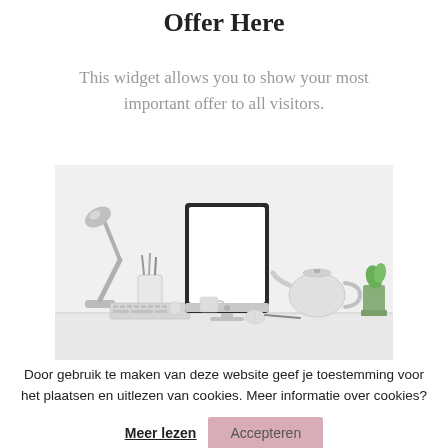Offer Here
This widget allows you to show your most important offer to all visitors.
[Figure (photo): A desk scene with an iMac computer, a metal desk lamp, pencil cup, keyboard, mouse, tea kettle, small plant, and various accessories on a white surface.]
Door gebruik te maken van deze website geef je toestemming voor het plaatsen en uitlezen van cookies. Meer informatie over cookies?
Meer lezen   Accepteren